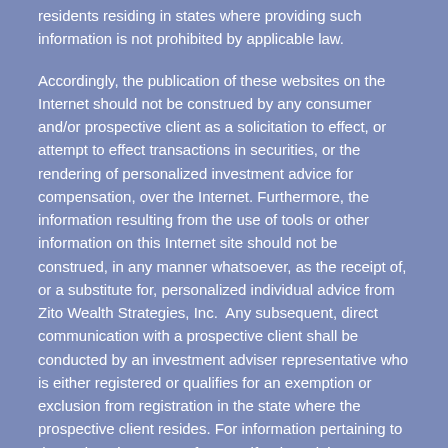residents residing in states where providing such information is not prohibited by applicable law.
Accordingly, the publication of these websites on the Internet should not be construed by any consumer and/or prospective client as a solicitation to effect, or attempt to effect transactions in securities, or the rendering of personalized investment advice for compensation, over the Internet. Furthermore, the information resulting from the use of tools or other information on this Internet site should not be construed, in any manner whatsoever, as the receipt of, or a substitute for, personalized individual advice from Zito Wealth Strategies, Inc.  Any subsequent, direct communication with a prospective client shall be conducted by an investment adviser representative who is either registered or qualifies for an exemption or exclusion from registration in the state where the prospective client resides. For information pertaining to the registration status of SmartLife Financial Group LLC, please refer to contact www.adviserinfo.sec.gov.
ACCESS TO THIS WEBSITE IS PROVIDED FOR INFORMATIONAL